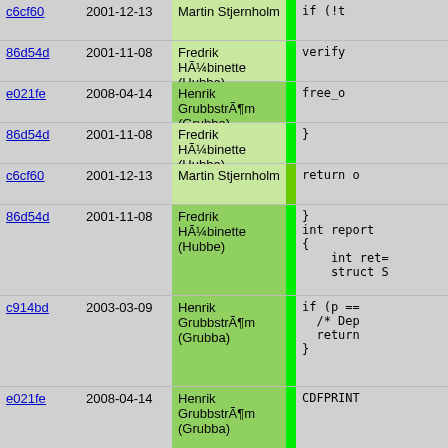| hash | date | author | bar | code |
| --- | --- | --- | --- | --- |
| c6cf60 | 2001-12-13 | Martin Stjernholm |  | if (!t |
| 86d54d | 2001-11-08 | Fredrik HÃ¼binette (Hubbe) |  | verify |
| e021fe | 2008-04-14 | Henrik GrubbstrÃ¶m (Grubba) |  | free_o |
| 86d54d | 2001-11-08 | Fredrik HÃ¼binette (Hubbe) |  | } |
| c6cf60 | 2001-12-13 | Martin Stjernholm |  | return o |
| 86d54d | 2001-11-08 | Fredrik HÃ¼binette (Hubbe) |  | }
int report
{
    int ret=
    struct S |
| c914bd | 2003-03-09 | Henrik GrubbstrÃ¶m (Grubba) |  | if (p ==
  /* Dep
  return
} |
| e021fe | 2008-04-14 | Henrik GrubbstrÃ¶m (Grubba) |  | CDFPRINT |
| 86d54d | 2001-11-08 | Fredrik HÃ¼binette (Hubbe) |  | verify_s |
| cd2be3 | 2004-03-13 | Henrik GrubbstrÃ¶m (Grubba) |  | if (Pike |
| 9f516a | 2001-12-16 | Martin Stjernholm |  | return |